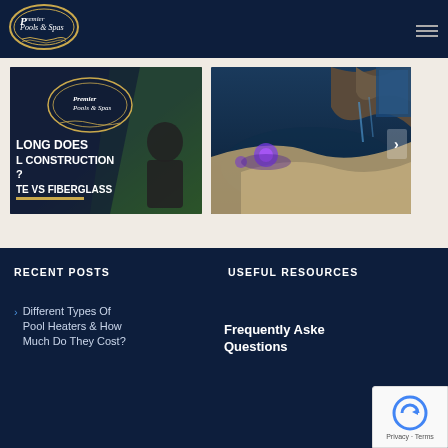[Figure (logo): Premier Pools & Spas logo — oval shaped with gold border on dark navy background, script text inside]
[Figure (screenshot): Video thumbnail: Premier Pools & Spas logo, text overlay reading 'HOW LONG DOES POOL CONSTRUCTION TAKE? CONCRETE VS FIBERGLASS', man in black t-shirt on dark background with green foliage]
[Figure (photo): Pool photo slideshow: aerial/elevated view of a curved luxury swimming pool with purple/blue LED lighting and rock waterfall feature, next slide arrow visible]
RECENT POSTS
USEFUL RESOURCES
Different Types Of Pool Heaters & How Much Do They Cost?
Frequently Asked Questions